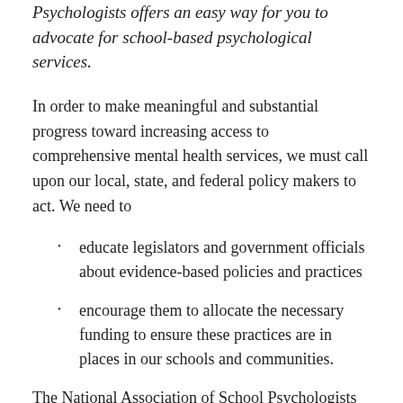Talimacourt of the National Association of School Psychologists offers an easy way for you to advocate for school-based psychological services.
In order to make meaningful and substantial progress toward increasing access to comprehensive mental health services, we must call upon our local, state, and federal policy makers to act. We need to
educate legislators and government officials about evidence-based policies and practices
encourage them to allocate the necessary funding to ensure these practices are in places in our schools and communities.
The National Association of School Psychologists is proud to be a partner in this effort. NASP represents over 25,000 school psychologists who work with